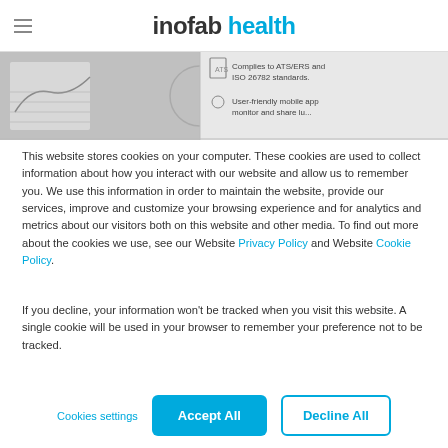inofab health
[Figure (screenshot): Partial screenshot of inofab health website banner showing a spirometry device interface with text 'Complies to ATS/ERS and ISO 26782 standards.' and 'User-friendly mobile app monitor and share lu...']
This website stores cookies on your computer. These cookies are used to collect information about how you interact with our website and allow us to remember you. We use this information in order to maintain the website, provide our services, improve and customize your browsing experience and for analytics and metrics about our visitors both on this website and other media. To find out more about the cookies we use, see our Website Privacy Policy and Website Cookie Policy.
If you decline, your information won't be tracked when you visit this website. A single cookie will be used in your browser to remember your preference not to be tracked.
Cookies settings | Accept All | Decline All